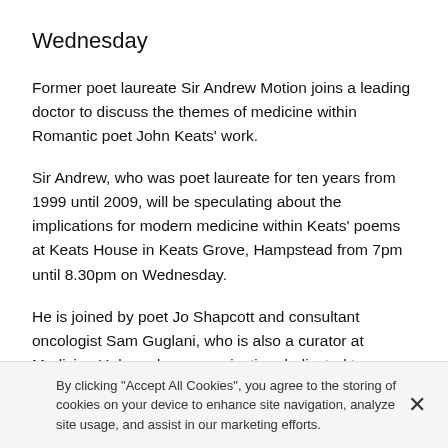Wednesday
Former poet laureate Sir Andrew Motion joins a leading doctor to discuss the themes of medicine within Romantic poet John Keats' work.
Sir Andrew, who was poet laureate for ten years from 1999 until 2009, will be speculating about the implications for modern medicine within Keats' poems at Keats House in Keats Grove, Hampstead from 7pm until 8.30pm on Wednesday.
He is joined by poet Jo Shapcott and consultant oncologist Sam Guglani, who is also a curator at Medicine Unboxed, an organisation dedicated to
By clicking "Accept All Cookies", you agree to the storing of cookies on your device to enhance site navigation, analyze site usage, and assist in our marketing efforts.